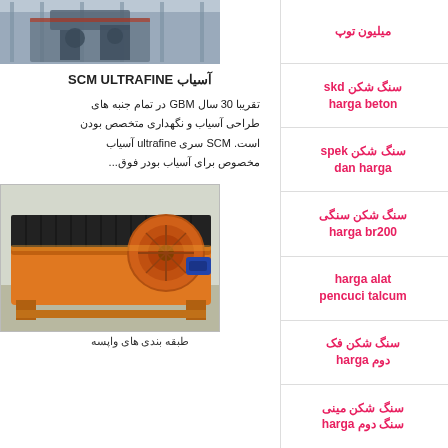[Figure (photo): Industrial machinery / mill equipment in a factory setting, gray-blue tones]
آسیاب SCM ULTRAFINE
تقریبا 30 سال GBM در تمام جنبه های طراحی آسیاب و نگهداری متخصص بودن است. SCM سری ultrafine آسیاب مخصوص برای آسیاب بودر فوق...
[Figure (photo): Large orange industrial crusher/mill machine outdoors]
طبقه بندی های واپسه
میلیون توپ
سنگ شکن skd harga beton
سنگ شکن spek dan harga
سنگ شکن سنگی harga br200
harga alat pencuci talcum
سنگ شکن فک دوم harga
سنگ شکن مینی سنگ دوم harga